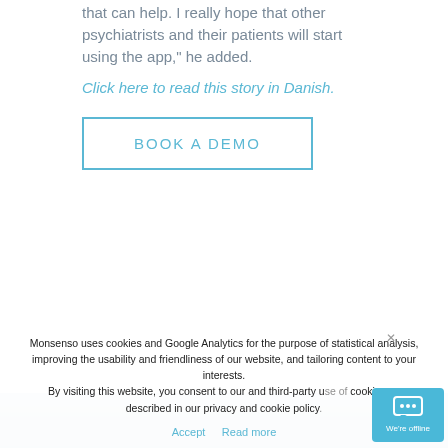that can help. I really hope that other psychiatrists and their patients will start using the app," he added.
Click here to read this story in Danish.
BOOK A DEMO
Monsenso uses cookies and Google Analytics for the purpose of statistical analysis, improving the usability and friendliness of our website, and tailoring content to your interests. By visiting this website, you consent to our and third-party use of cookies as described in our privacy and cookie policy.
Accept  Read more
We're offline